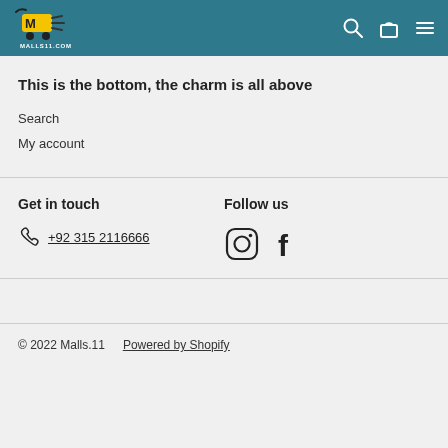Malls11.com — navigation header with logo, search, cart, and menu icons
This is the bottom, the charm is all above
Search
My account
Get in touch
+92 315 2116666
Follow us
[Figure (other): Instagram and Facebook social media icons]
© 2022 Malls.11    Powered by Shopify